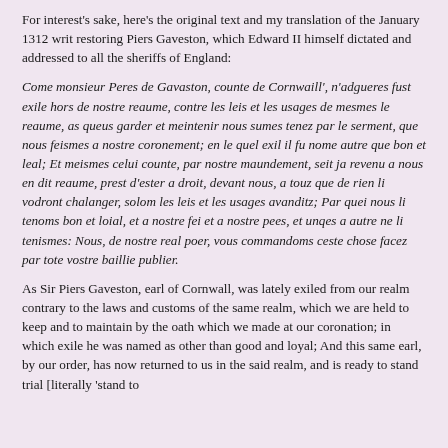For interest's sake, here's the original text and my translation of the January 1312 writ restoring Piers Gaveston, which Edward II himself dictated and addressed to all the sheriffs of England:
Come monsieur Peres de Gavaston, counte de Cornwaill', n'adgueres fust exile hors de nostre reaume, contre les leis et les usages de mesmes le reaume, as queus garder et meintenir nous sumes tenez par le serment, que nous feismes a nostre coronement; en le quel exil il fu nome autre que bon et leal; Et meismes celui counte, par nostre maundement, seit ja revenu a nous en dit reaume, prest d'ester a droit, devant nous, a touz que de rien li vodront chalanger, solom les leis et les usages avanditz; Par quei nous li tenoms bon et loial, et a nostre fei et a nostre pees, et unqes a autre ne li tenismes: Nous, de nostre real poer, vous commandoms ceste chose facez par tote vostre baillie publier.
As Sir Piers Gaveston, earl of Cornwall, was lately exiled from our realm contrary to the laws and customs of the same realm, which we are held to keep and to maintain by the oath which we made at our coronation; in which exile he was named as other than good and loyal; And this same earl, by our order, has now returned to us in the said realm, and is ready to stand trial [literally 'stand to right'] before us for anything that anyone wants to charge him with, according to the laws and customs aforesaid;